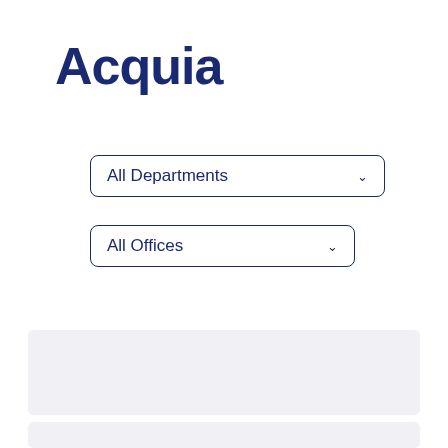[Figure (logo): Acquia company logo in dark navy blue text]
All Departments
All Offices
[Figure (other): Gray placeholder card block 1]
[Figure (other): Gray placeholder card block 2]